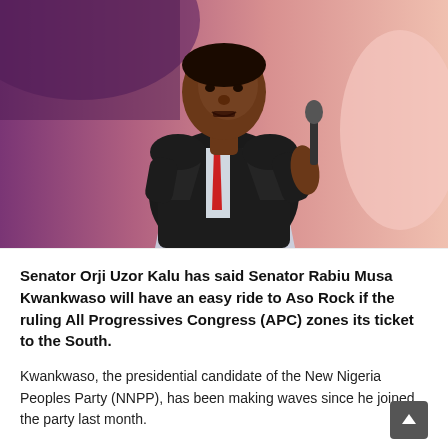[Figure (photo): A man in a dark pinstripe suit with a red tie speaking at a podium/lectern, holding a microphone. Background has purple/pink lighting. He appears to be Senator Orji Uzor Kalu.]
Senator Orji Uzor Kalu has said Senator Rabiu Musa Kwankwaso will have an easy ride to Aso Rock if the ruling All Progressives Congress (APC) zones its ticket to the South.
Kwankwaso, the presidential candidate of the New Nigeria Peoples Party (NNPP), has been making waves since he joined the party last month.